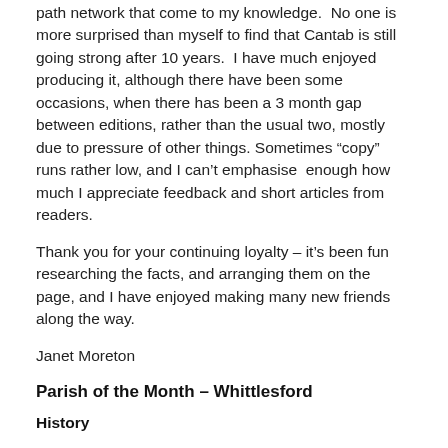path network that come to my knowledge.  No one is more surprised than myself to find that Cantab is still going strong after 10 years.  I have much enjoyed producing it, although there have been some occasions, when there has been a 3 month gap between editions, rather than the usual two, mostly due to pressure of other things. Sometimes “copy” runs rather low, and I can’t emphasise  enough how much I appreciate feedback and short articles from readers.
Thank you for your continuing loyalty – it’s been fun researching the facts, and arranging them on the page, and I have enjoyed making many new friends along the way.
Janet Moreton
Parish of the Month – Whittlesford
History